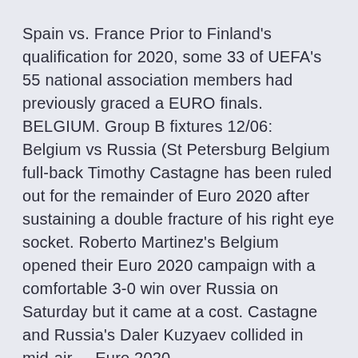Spain vs. France Prior to Finland's qualification for 2020, some 33 of UEFA's 55 national association members had previously graced a EURO finals. BELGIUM. Group B fixtures 12/06: Belgium vs Russia (St Petersburg Belgium full-back Timothy Castagne has been ruled out for the remainder of Euro 2020 after sustaining a double fracture of his right eye socket. Roberto Martinez's Belgium opened their Euro 2020 campaign with a comfortable 3-0 win over Russia on Saturday but it came at a cost. Castagne and Russia's Daler Kuzyaev collided in mid-air ... Euro 2020.